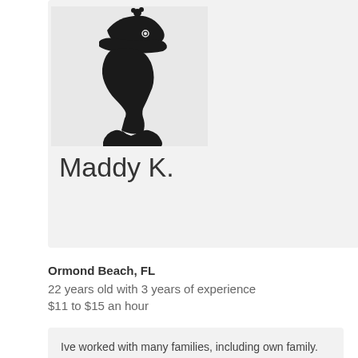[Figure (illustration): Black silhouette profile of a woman wearing a decorative hat with flowers, facing left, on a light gray background card]
Maddy K.
Ormond Beach, FL
22 years old with 3 years of experience
$11 to $15 an hour
Ive worked with many families, including own family. Ive also worked as a nanny and as a caregiver for foster...